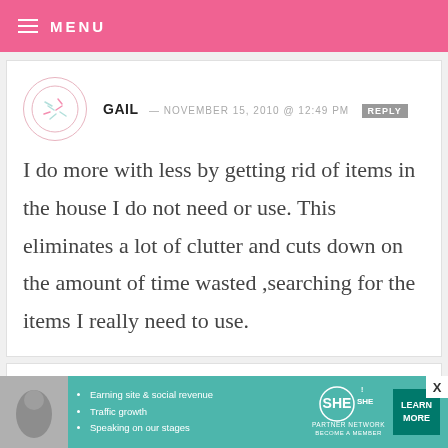MENU
GAIL — NOVEMBER 15, 2010 @ 12:49 PM
I do more with less by getting rid of items in the house I do not need or use. This eliminates a lot of clutter and cuts down on the amount of time wasted ,searching for the items I really need to use.
JENNIFER D. — NOVEMBER 15, 2010 @ 12:48 PM